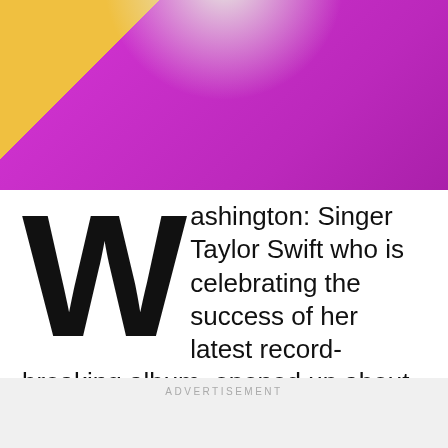[Figure (photo): Photo of a person in a bright magenta/purple outfit against a yellow-orange background, cropped to show upper body and fabric.]
Washington: Singer Taylor Swift who is celebrating the success of her latest record-breaking album, opened up about some sexist remarks she faced during her initial career days.
ADVERTISEMENT